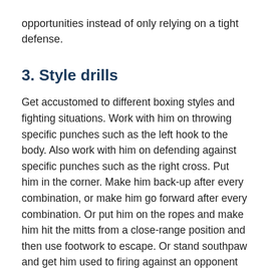opportunities instead of only relying on a tight defense.
3. Style drills
Get accustomed to different boxing styles and fighting situations. Work with him on throwing specific punches such as the left hook to the body. Also work with him on defending against specific punches such as the right cross. Put him in the corner. Make him back-up after every combination, or make him go forward after every combination. Or put him on the ropes and make him hit the mitts from a close-range position and then use footwork to escape. Or stand southpaw and get him used to firing against an opponent in the southpaw stance.